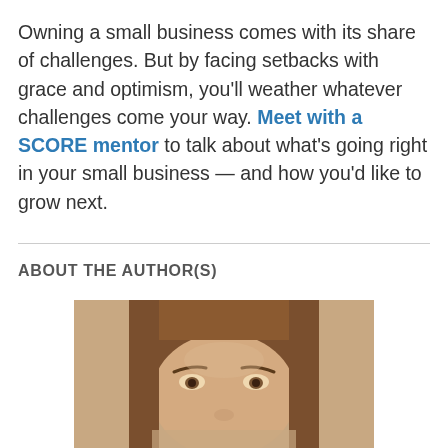Owning a small business comes with its share of challenges. But by facing setbacks with grace and optimism, you'll weather whatever challenges come your way. Meet with a SCORE mentor to talk about what's going right in your small business — and how you'd like to grow next.
ABOUT THE AUTHOR(S)
[Figure (photo): Portrait photo of a woman with straight brown hair, looking slightly upward, cropped to show from the top of the head to just below the nose.]